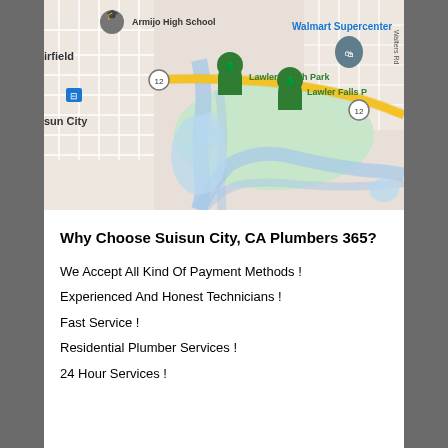[Figure (map): Google Maps screenshot showing Suisun City, CA area with Armijo High School, Walmart Supercenter, Lawler Ranch Park, Lawler Falls Park markers, route 12, and a river/waterway area.]
Why Choose Suisun City, CA Plumbers 365?
We Accept All Kind Of Payment Methods !
Experienced And Honest Technicians !
Fast Service !
Residential Plumber Services !
24 Hour Services !